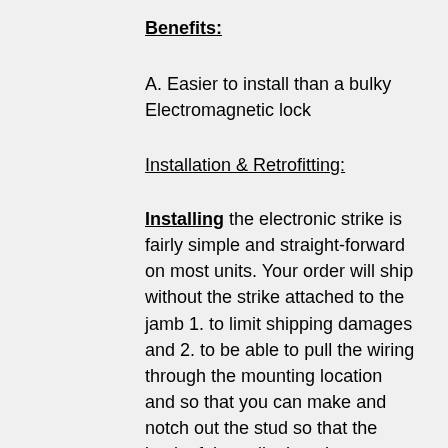Benefits:
A. Easier to install than a bulky Electromagnetic lock
Installation & Retrofitting:
Installing the electronic strike is fairly simple and straight-forward on most units. Your order will ship without the strike attached to the jamb 1. to limit shipping damages and 2. to be able to pull the wiring through the mounting location and so that you can make and notch out the stud so that the back of the strike has the necessary room to fit properly on the jamb.
Retrofitting the unit can be very difficult if not done in the factory especially on mirror